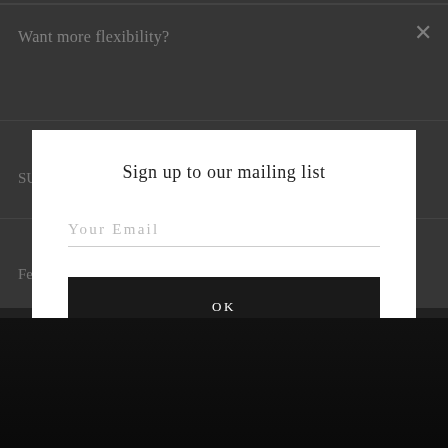Want more flexibility?
SU
Fe
XO
Do
Sign up to our mailing list
Your Email
OK
[Figure (illustration): Social media icons: Facebook, Instagram, YouTube]